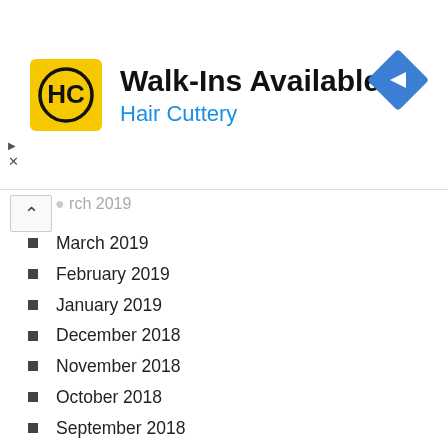[Figure (logo): Hair Cuttery advertisement banner with HC logo, 'Walk-Ins Available' title, 'Hair Cuttery' subtitle in blue, and a blue direction/navigation diamond icon on the right.]
March 2019
February 2019
January 2019
December 2018
November 2018
October 2018
September 2018
August 2018
July 2018
June 2018
May 2018
April 2018
March 2018